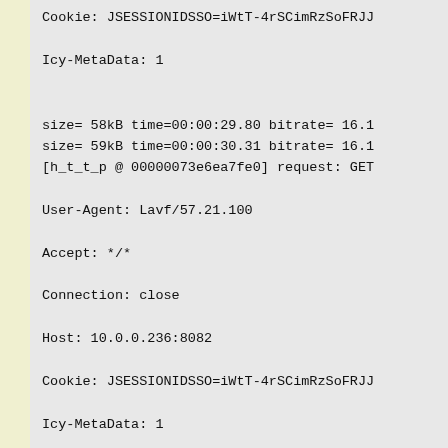Cookie: JSESSIONIDSSO=iWtT-4rSCimRzSoFRJJ
Icy-MetaData: 1
size= 58kB time=00:00:29.80 bitrate= 16.1
size= 59kB time=00:00:30.31 bitrate= 16.1
[h_t_t_p @ 00000073e6ea7fe0] request: GET
User-Agent: Lavf/57.21.100
Accept: */*
Connection: close
Host: 10.0.0.236:8082
Cookie: JSESSIONIDSSO=iWtT-4rSCimRzSoFRJJ
Icy-MetaData: 1
[AVIOContext @ 00000073e6ecd2e0] Statisti
[hls,appleh_t_t_p @ 00000073e6e8bb60] HLS
[h_t_t_p @ 00000073e6ebad60] request: GET